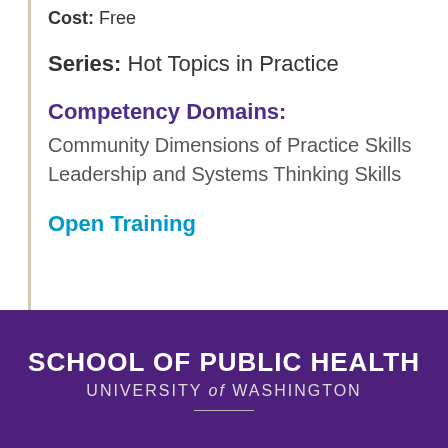Cost: Free
Series: Hot Topics in Practice
Competency Domains:
Community Dimensions of Practice Skills
Leadership and Systems Thinking Skills
Open Training
SCHOOL OF PUBLIC HEALTH
UNIVERSITY of WASHINGTON